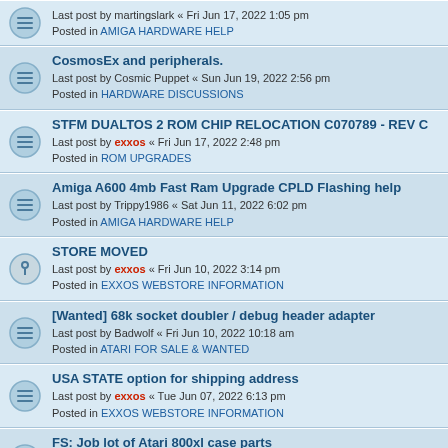Last post by martingslark « Fri Jun 17, 2022 1:05 pm
Posted in AMIGA HARDWARE HELP
CosmosEx and peripherals.
Last post by Cosmic Puppet « Sun Jun 19, 2022 2:56 pm
Posted in HARDWARE DISCUSSIONS
STFM DUALTOS 2 ROM CHIP RELOCATION C070789 - REV C
Last post by exxos « Fri Jun 17, 2022 2:48 pm
Posted in ROM UPGRADES
Amiga A600 4mb Fast Ram Upgrade CPLD Flashing help
Last post by Trippy1986 « Sat Jun 11, 2022 6:02 pm
Posted in AMIGA HARDWARE HELP
STORE MOVED
Last post by exxos « Fri Jun 10, 2022 3:14 pm
Posted in EXXOS WEBSTORE INFORMATION
[Wanted] 68k socket doubler / debug header adapter
Last post by Badwolf « Fri Jun 10, 2022 10:18 am
Posted in ATARI FOR SALE & WANTED
USA STATE option for shipping address
Last post by exxos « Tue Jun 07, 2022 6:13 pm
Posted in EXXOS WEBSTORE INFORMATION
FS: Job lot of Atari 800xl case parts
Last post by PhilC « Sun Jun 05, 2022 2:50 pm
Posted in ATARI FOR SALE & WANTED
FSALE: Traco 100-240vAC to 5v DC
Last post by Steve « Thu May 26, 2022 1:17 pm
Posted in ATARI FOR SALE & WANTED